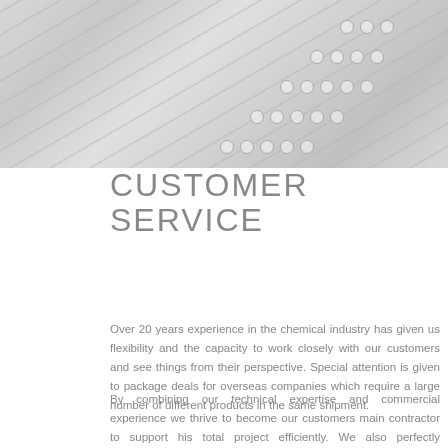[Figure (photo): Close-up photo of paper/spreadsheet with diagonal lines and circular checkboxes arranged in rows, in light grey tones]
CUSTOMER SERVICE
Over 20 years experience in the chemical industry has given us flexibility and the capacity to work closely with our customers and see things from their perspective. Special attention is given to package deals for overseas companies which require a large number of different products in the same shipment.
By combining our technical expertise and commercial experience we thrive to become our customers main contractor to support his total project efficiently. We also perfectly understand that it is easier for our clients to be successful with the back-up of a reliable supplier, that is